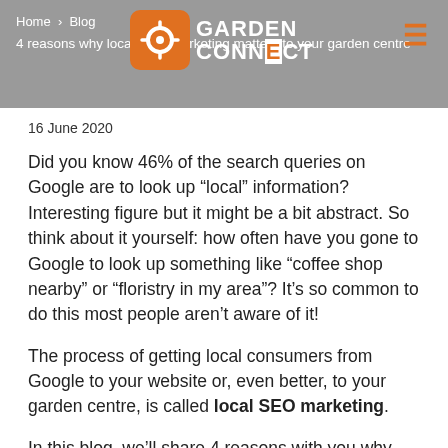Home > Blog | GARDEN CONNECT
4 reasons why local SEO marketing matters to your garden centre
16 June 2020
Did you know 46% of the search queries on Google are to look up “local” information? Interesting figure but it might be a bit abstract. So think about it yourself: how often have you gone to Google to look up something like “coffee shop nearby” or “floristry in my area”? It’s so common to do this most people aren’t aware of it!
The process of getting local consumers from Google to your website or, even better, to your garden centre, is called local SEO marketing.
In this blog, we’ll share 4 reasons with you why